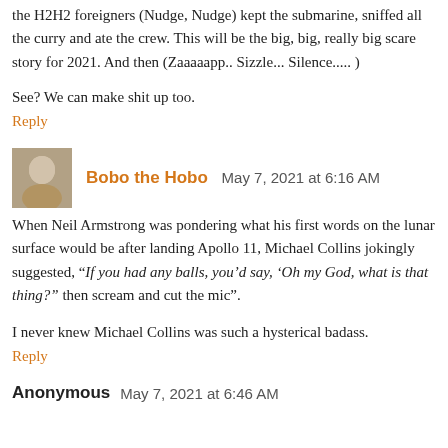the H2H2 foreigners (Nudge, Nudge) kept the submarine, sniffed all the curry and ate the crew. This will be the big, big, really big scare story for 2021. And then (Zaaaaapp.. Sizzle... Silence..... )
See? We can make shit up too.
Reply
Bobo the Hobo  May 7, 2021 at 6:16 AM
When Neil Armstrong was pondering what his first words on the lunar surface would be after landing Apollo 11, Michael Collins jokingly suggested, “If you had any balls, you’d say, ‘Oh my God, what is that thing?” then scream and cut the mic”.
I never knew Michael Collins was such a hysterical badass.
Reply
Anonymous  May 7, 2021 at 6:46 AM